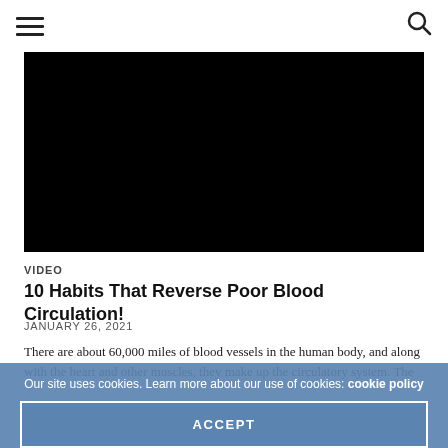≡  🔍
[Figure (screenshot): Black video thumbnail placeholder]
VIDEO
10 Habits That Reverse Poor Blood Circulation!
JANUARY 26, 2021
There are about 60,000 miles of blood vessels in the human body, and along with the heart and other muscles, they make up the circulatory system. The
Our site uses cookies. Learn more about our use of cookies: cookie policy
ACCEPT